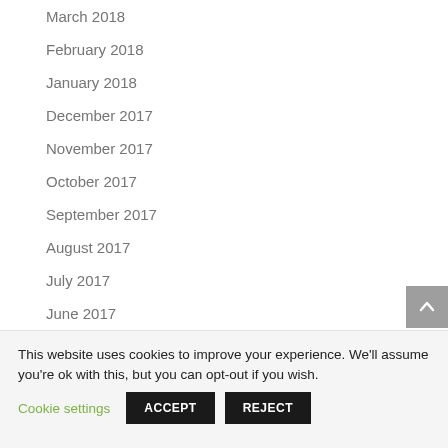March 2018
February 2018
January 2018
December 2017
November 2017
October 2017
September 2017
August 2017
July 2017
June 2017
May 2017
This website uses cookies to improve your experience. We'll assume you're ok with this, but you can opt-out if you wish.
Cookie settings  ACCEPT  REJECT